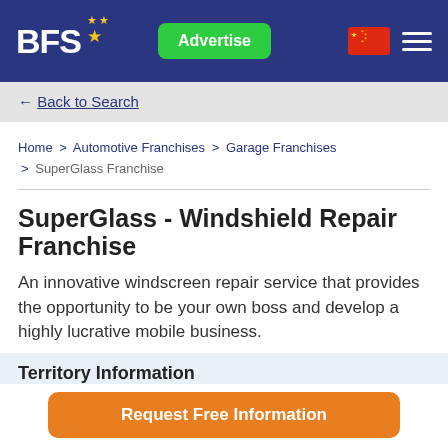BFS★ | Advertise | [CN flag] | [Menu]
← Back to Search
Home > Automotive Franchises > Garage Franchises > SuperGlass Franchise
SuperGlass - Windshield Repair Franchise
An innovative windscreen repair service that provides the opportunity to be your own boss and develop a highly lucrative mobile business.
Territory Information
Request Free Information